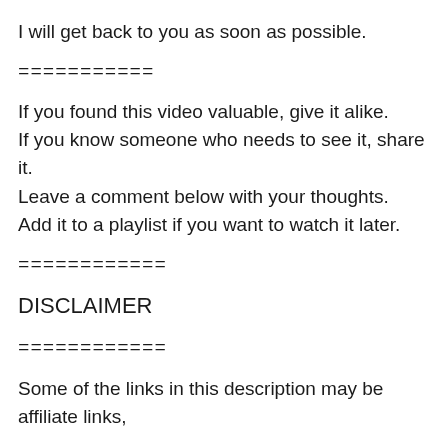I will get back to you as soon as possible.
===========
If you found this video valuable, give it alike.
If you know someone who needs to see it, share it.
Leave a comment below with your thoughts.
Add it to a playlist if you want to watch it later.
============
DISCLAIMER
============
Some of the links in this description may be affiliate links,